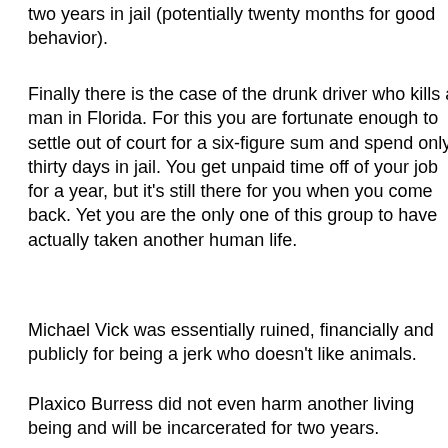two years in jail (potentially twenty months for good behavior).
Finally there is the case of the drunk driver who kills a man in Florida. For this you are fortunate enough to settle out of court for a six-figure sum and spend only thirty days in jail. You get unpaid time off of your job for a year, but it's still there for you when you come back. Yet you are the only one of this group to have actually taken another human life.
Michael Vick was essentially ruined, financially and publicly for being a jerk who doesn’t like animals.
Plaxico Burress did not even harm another living being and will be incarcerated for two years.
And Donte Stallworth gets off comparatively easily despite ending someone’s life.
If you've ever wondered why athletes get into trouble, trouble that most of us normal people cannot even consider,